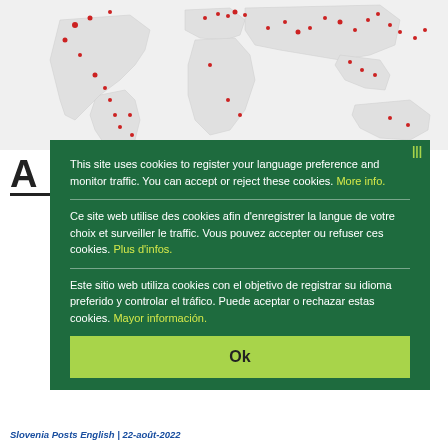[Figure (map): World map with red dots indicating geographic locations/data points]
This site uses cookies to register your language preference and monitor traffic. You can accept or reject these cookies. More info.
Ce site web utilise des cookies afin d'enregistrer la langue de votre choix et surveiller le traffic. Vous pouvez accepter ou refuser ces cookies. Plus d'infos.
Este sitio web utiliza cookies con el objetivo de registrar su idioma preferido y controlar el tráfico. Puede aceptar o rechazar estas cookies. Mayor información.
Ok
Slovenia Posts English | 22-août-2022